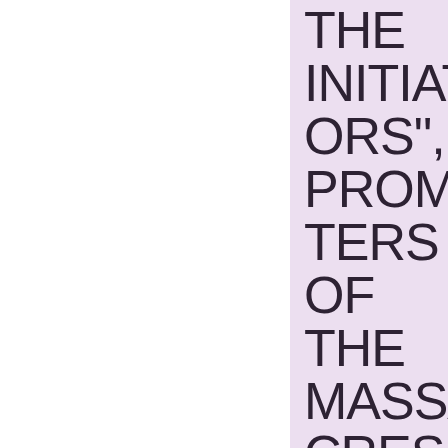THE INITIATORS", PROMOTERS OF THE MASSACRES
29 OCTOBER 2015   MBARDIN
Annexe 94 (.pdf – 65 Ko)